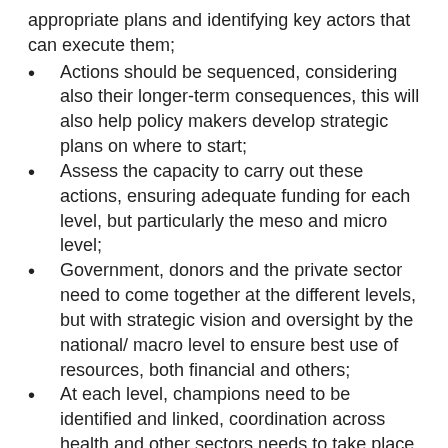appropriate plans and identifying key actors that can execute them;
Actions should be sequenced, considering also their longer-term consequences, this will also help policy makers develop strategic plans on where to start;
Assess the capacity to carry out these actions, ensuring adequate funding for each level, but particularly the meso and micro level;
Government, donors and the private sector need to come together at the different levels, but with strategic vision and oversight by the national/ macro level to ensure best use of resources, both financial and others;
At each level, champions need to be identified and linked, coordination across health and other sectors needs to take place, and all involved in the response should be appropriately incentivized;
Given the fast-changing nature of the epidemic, the results of interventions and lessons learnt at the meso and micro should be continuously fed back to the macro